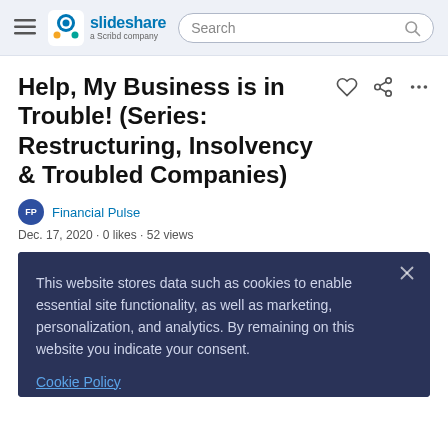slideshare — a Scribd company | Search
Help, My Business is in Trouble! (Series: Restructuring, Insolvency & Troubled Companies)
Financial Pulse
Dec. 17, 2020 · 0 likes · 52 views
[Figure (screenshot): Partial screenshot of a slide preview showing 'My Business is in Trouble!' text and 'Co-Produced by: DailyDAC' on a dark blue background]
This website stores data such as cookies to enable essential site functionality, as well as marketing, personalization, and analytics. By remaining on this website you indicate your consent.
Cookie Policy